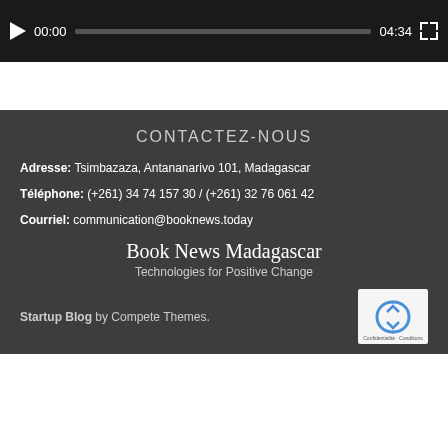[Figure (screenshot): Video player control bar with play button, time display 00:00, progress bar, duration 04:34, and fullscreen button on dark background]
CONTACTEZ-NOUS
Adresse: Tsimbazaza, Antananarivo 101, Madagascar
Téléphone: (+261) 34 74 157 30 / (+261) 32 76 061 42
Courriel: communication@booknews.today
Book News Madagascar
Technologies for Positive Change
Startup Blog by Compete Themes.